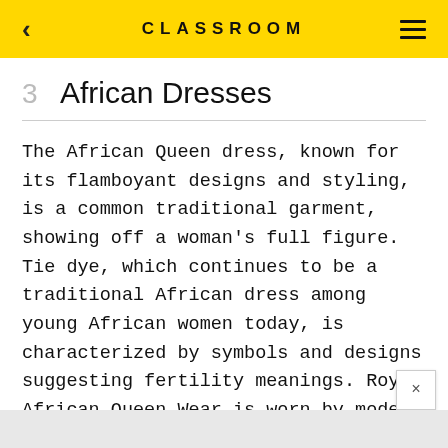CLASSROOM
3  African Dresses
The African Queen dress, known for its flamboyant designs and styling, is a common traditional garment, showing off a woman's full figure. Tie dye, which continues to be a traditional African dress among young African women today, is characterized by symbols and designs suggesting fertility meanings. Royal African Queen Wear is worn by modern African royalty and is trimmed with braids.